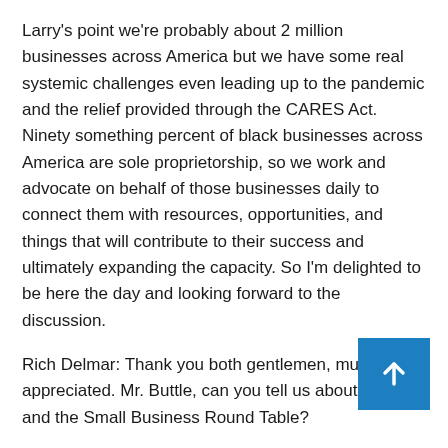Larry's point we're probably about 2 million businesses across America but we have some real systemic challenges even leading up to the pandemic and the relief provided through the CARES Act. Ninety something percent of black businesses across America are sole proprietorship, so we work and advocate on behalf of those businesses daily to connect them with resources, opportunities, and things that will contribute to their success and ultimately expanding the capacity. So I'm delighted to be here the day and looking forward to the discussion.
Rich Delmar: Thank you both gentlemen, much appreciated. Mr. Buttle, can you tell us about yourself and the Small Business Round Table?
Rhett Buttle: Well, thank you all so much for having [me] for this, what I think is really critical discussion. Small